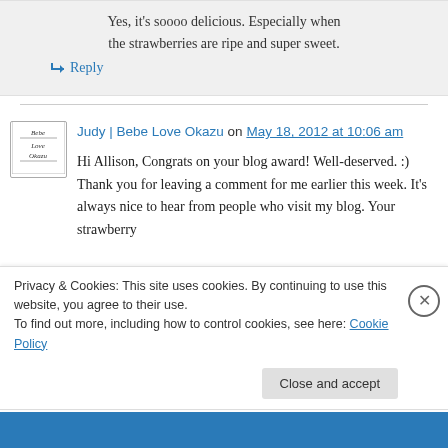Yes, it's soooo delicious. Especially when the strawberries are ripe and super sweet.
↳ Reply
Judy | Bebe Love Okazu on May 18, 2012 at 10:06 am
Hi Allison, Congrats on your blog award! Well-deserved. :) Thank you for leaving a comment for me earlier this week. It's always nice to hear from people who visit my blog. Your strawberry
Privacy & Cookies: This site uses cookies. By continuing to use this website, you agree to their use.
To find out more, including how to control cookies, see here: Cookie Policy
Close and accept